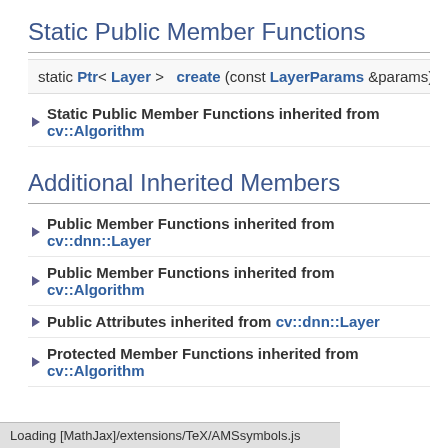Static Public Member Functions
|  |
| --- |
| static Ptr< Layer >   create (const LayerParams &params) |
Static Public Member Functions inherited from cv::Algorithm
Additional Inherited Members
Public Member Functions inherited from cv::dnn::Layer
Public Member Functions inherited from cv::Algorithm
Public Attributes inherited from cv::dnn::Layer
Protected Member Functions inherited from cv::Algorithm
Detailed Description
Bilinear resize layer from https://github.com/cdmh/deeplab-public-ver2
It differs from ResizeLayer in output shape and resize scales computa
Loading [MathJax]/extensions/TeX/AMSsymbols.js